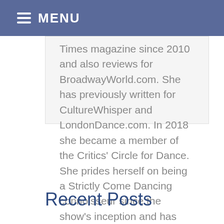MENU
Times magazine since 2010 and also reviews for BroadwayWorld.com. She has previously written for CultureWhisper and LondonDance.com. In 2018 she became a member of the Critics' Circle for Dance. She prides herself on being a Strictly Come Dancing connoisseur since the show's inception and has appeared on BBC radio as an expert on all things Strictly.
Recent Posts